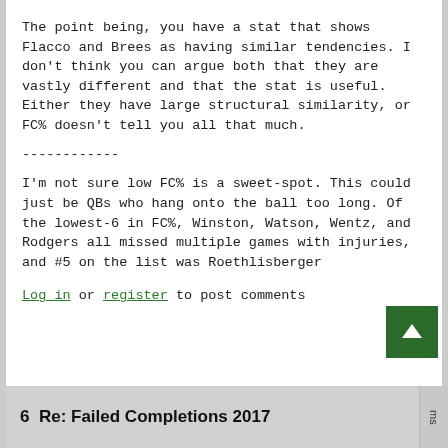The point being, you have a stat that shows Flacco and Brees as having similar tendencies. I don't think you can argue both that they are vastly different and that the stat is useful. Either they have large structural similarity, or FC% doesn't tell you all that much.
------------
I'm not sure low FC% is a sweet-spot. This could just be QBs who hang onto the ball too long. Of the lowest-6 in FC%, Winston, Watson, Wentz, and Rodgers all missed multiple games with injuries, and #5 on the list was Roethlisberger
Log in or register to post comments
6  Re: Failed Completions 2017